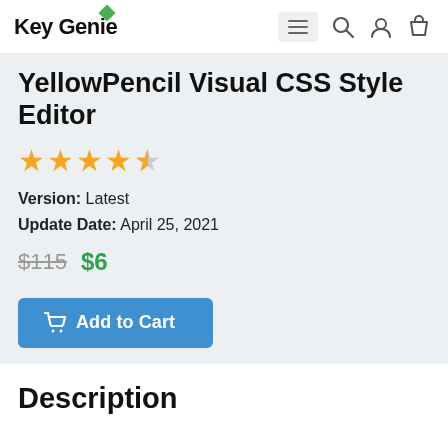Key Genie
YellowPencil Visual CSS Style Editor
★★★★½ (4.5 stars)
Version: Latest
Update Date: April 25, 2021
$115  $6
Add to Cart
Description